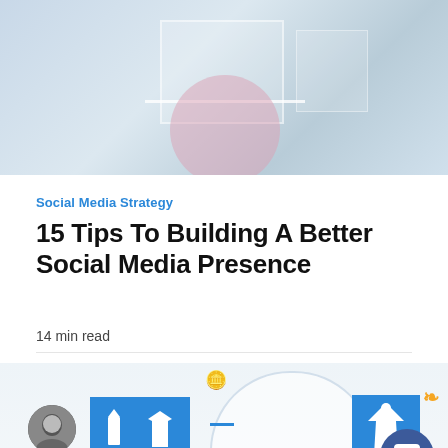[Figure (illustration): Hero banner with abstract light blue geometric shapes, white rectangle outline, horizontal white line, and pink/rose semi-circle at bottom]
Social Media Strategy
15 Tips To Building A Better Social Media Presence
14 min read
[Figure (illustration): Bottom decorative section with avatar photo, blue icon boxes showing clothing icons, arch shape, coin emoji, social sharing icons, and chat bubble widget]